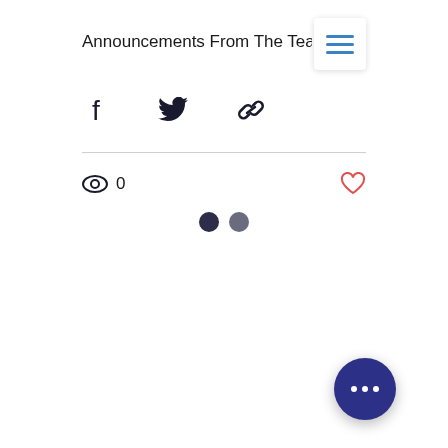Announcements From The Tea…n
[Figure (screenshot): Hamburger menu icon with three horizontal blue lines on white background]
[Figure (screenshot): Share icons row: Facebook logo, Twitter bird logo, link/chain icon]
[Figure (screenshot): Horizontal divider line]
[Figure (screenshot): Stats row: eye icon with 0 view count on left, heart outline icon on right]
[Figure (screenshot): Loading indicator: two dots, one dark navy and one gray]
[Figure (screenshot): Floating action button: dark navy circle with three white dots (ellipsis)]